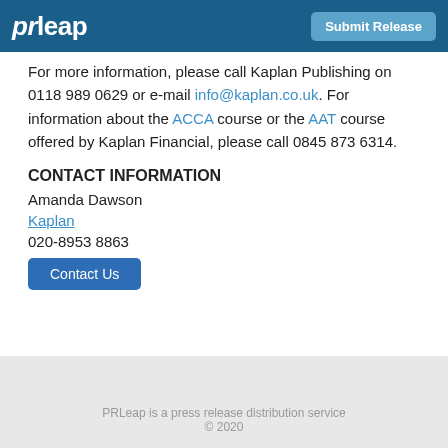prleap | Submit Release
For more information, please call Kaplan Publishing on 0118 989 0629 or e-mail info@kaplan.co.uk. For information about the ACCA course or the AAT course offered by Kaplan Financial, please call 0845 873 6314.
CONTACT INFORMATION
Amanda Dawson
Kaplan
020-8953 8863
Contact Us
PRLeap is a press release distribution service
© 2020